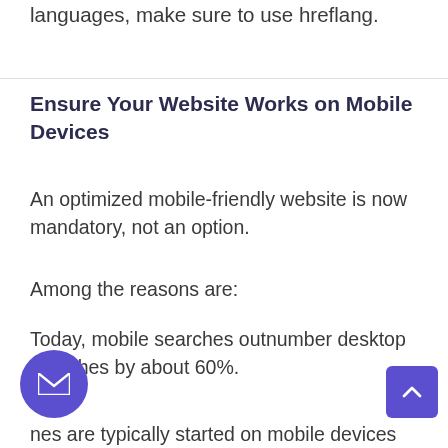languages, make sure to use hreflang.
Ensure Your Website Works on Mobile Devices
An optimized mobile-friendly website is now mandatory, not an option.
Among the reasons are:
Today, mobile searches outnumber desktop searches by about 60%.
nes are typically started on mobile devices and continued on a desktop